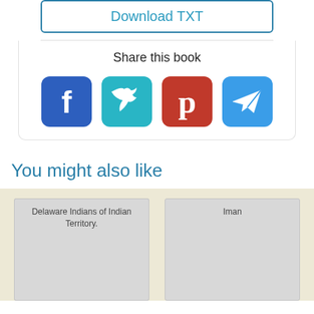Download TXT
Share this book
[Figure (infographic): Four social media share icons: Facebook (blue), Twitter (teal), Pinterest (red), Telegram (blue) as rounded square buttons]
You might also like
[Figure (illustration): Book card thumbnail with title: Delaware Indians of Indian Territory.]
[Figure (illustration): Book card thumbnail with title: Iman]